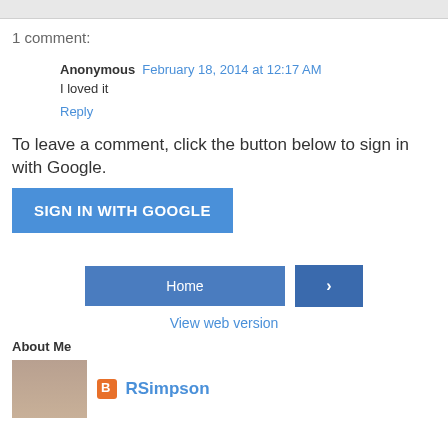1 comment:
Anonymous  February 18, 2014 at 12:17 AM
I loved it
Reply
To leave a comment, click the button below to sign in with Google.
SIGN IN WITH GOOGLE
Home
>
View web version
About Me
[Figure (photo): Profile photo showing two people]
RSimpson